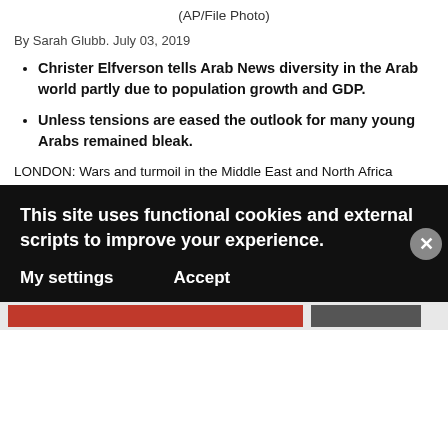(AP/File Photo)
By Sarah Glubb. July 03, 2019
Christer Elfverson tells Arab News diversity in the Arab world partly due to population growth and GDP.
Unless tensions are eased the outlook for many young Arabs remained bleak.
LONDON: Wars and turmoil in the Middle East and North Africa (MENA) region are having a marked impact on youth unemployment, according to a former top UN official.
And unless tensions are eased the outlook for many young Arabs remained bleak, said international diplomatic adviser, Christer Elfverson.
His comments follow figures from the International Labor
This site uses functional cookies and external scripts to improve your experience.
My settings   Accept